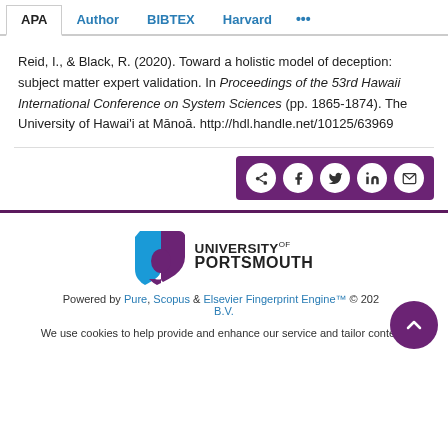APA | Author | BIBTEX | Harvard | ...
Reid, I., & Black, R. (2020). Toward a holistic model of deception: subject matter expert validation. In Proceedings of the 53rd Hawaii International Conference on System Sciences (pp. 1865-1874). The University of Hawai'i at Mānoa. http://hdl.handle.net/10125/63969
[Figure (infographic): Social share bar with icons for share, Facebook, Twitter, LinkedIn, and email on a purple background]
[Figure (logo): University of Portsmouth logo with blue and purple shield icon and text UNIVERSITY OF PORTSMOUTH]
Powered by Pure, Scopus & Elsevier Fingerprint Engine™ © 202... B.V.
We use cookies to help provide and enhance our service and tailor content.